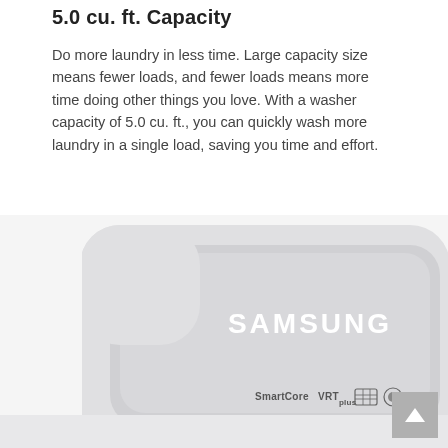5.0 cu. ft. Capacity
Do more laundry in less time. Large capacity size means fewer loads, and fewer loads means more time doing other things you love. With a washer capacity of 5.0 cu. ft., you can quickly wash more laundry in a single load, saving you time and effort.
[Figure (photo): Top-down view of a white Samsung washing machine lid showing the Samsung logo and SmartCore VRTplus branding with certification badges]